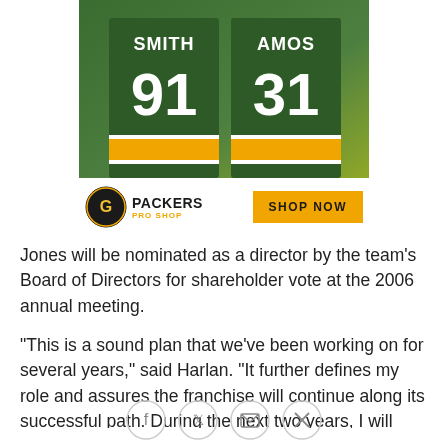[Figure (photo): Green Bay Packers Pro Shop advertisement showing two green football jerseys — SMITH #91 and AMOS #31 — with a Packers Pro Shop logo and a yellow SHOP NOW button.]
Jones will be nominated as a director by the team's Board of Directors for shareholder vote at the 2006 annual meeting.
"This is a sound plan that we've been working on for several years," said Harlan. "It further defines my role and assures the franchise will continue along its successful path. During the next two years, I will continue to oversee the organization while John takes the next step and broadens his role in preparing to
[Figure (infographic): Social sharing icons: Facebook, Twitter, Email, Link]